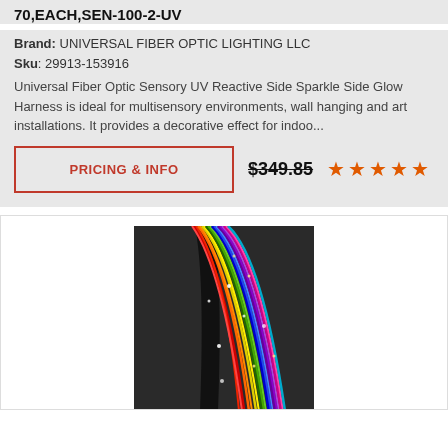70,EACH,SEN-100-2-UV
Brand: UNIVERSAL FIBER OPTIC LIGHTING LLC
Sku: 29913-153916
Universal Fiber Optic Sensory UV Reactive Side Sparkle Side Glow Harness is ideal for multisensory environments, wall hanging and art installations. It provides a decorative effect for indoo...
PRICING & INFO
$349.85
[Figure (photo): Colorful fiber optic cables bundled together showing various colors including red, blue, green, yellow, purple, and sparkle effects]